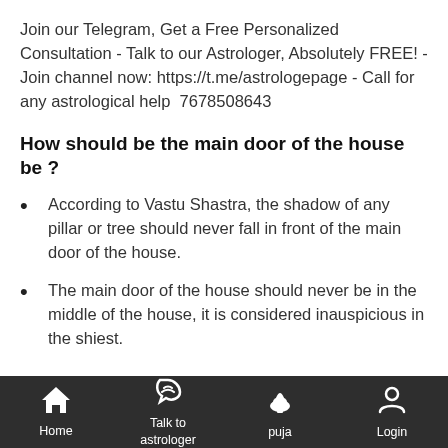Join our Telegram, Get a Free Personalized Consultation - Talk to our Astrologer, Absolutely FREE! - Join channel now: https://t.me/astrologepage - Call for any astrological help  7678508643
How should be the main door of the house be ?
According to Vastu Shastra, the shadow of any pillar or tree should never fall in front of the main door of the house.
The main door of the house should never be in the middle of the house, it is considered inauspicious in the shiest.
Home | Talk to astrologer | puja | Login